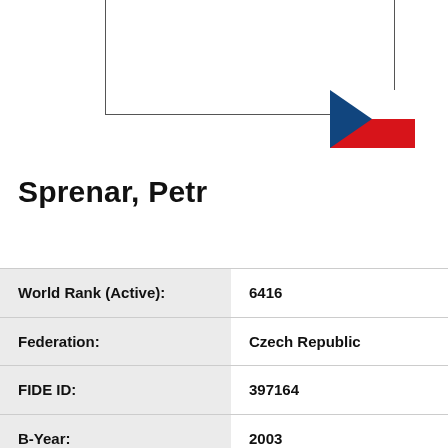[Figure (illustration): Profile photo placeholder box with Czech Republic flag icon in bottom-right corner]
Sprenar, Petr
| Field | Value |
| --- | --- |
| World Rank (Active): | 6416 |
| Federation: | Czech Republic |
| FIDE ID: | 397164 |
| B-Year: | 2003 |
| Sex: | Male |
| FIDE title: | FIDE Master |